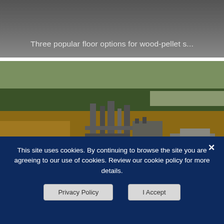[Figure (screenshot): Top dark grey banner area with truncated text: Three popular floor options for wood-pellet s...]
Three popular floor options for wood-pellet s...
[Figure (photo): Aerial photograph of an industrial wood-pellet processing facility with large spherical storage tanks, machinery, and surrounding forested land]
This site uses cookies. By continuing to browse the site you are agreeing to our use of cookies. Review our cookie policy for more details.
Privacy Policy
I Accept